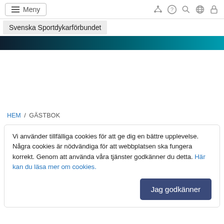≡ Meny  [icons: network, help, search, globe, lock]
Svenska Sportdykarförbundet
[Figure (other): Dark teal gradient header banner]
HEM / GÄSTBOK
Vi använder tillfälliga cookies för att ge dig en bättre upplevelse. Några cookies är nödvändiga för att webbplatsen ska fungera korrekt. Genom att använda våra tjänster godkänner du detta. Här kan du läsa mer om cookies.
Jag godkänner